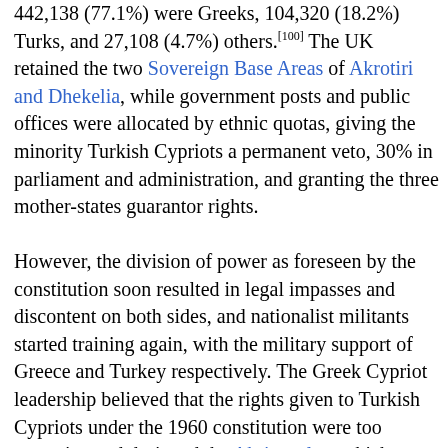442,138 (77.1%) were Greeks, 104,320 (18.2%) Turks, and 27,108 (4.7%) others.[100] The UK retained the two Sovereign Base Areas of Akrotiri and Dhekelia, while government posts and public offices were allocated by ethnic quotas, giving the minority Turkish Cypriots a permanent veto, 30% in parliament and administration, and granting the three mother-states guarantor rights.
However, the division of power as foreseen by the constitution soon resulted in legal impasses and discontent on both sides, and nationalist militants started training again, with the military support of Greece and Turkey respectively. The Greek Cypriot leadership believed that the rights given to Turkish Cypriots under the 1960 constitution were too extensive and designed the Akritas plan, which was aimed at reforming the constitution in favour of Greek Cypriots.